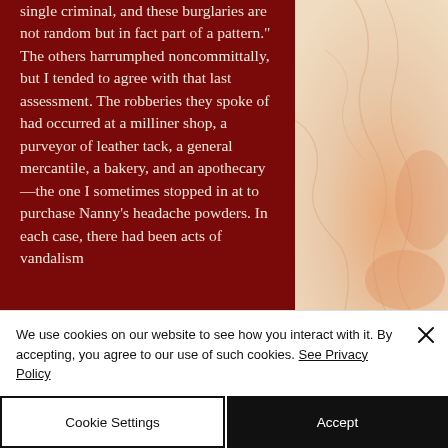single criminal, and these burglaries are not random but in fact part of a pattern." The others harrumphed noncommittally, but I tended to agree with that last assessment. The robberies they spoke of had occurred at a milliner shop, a purveyor of leather tack, a general mercantile, a bakery, and an apothecary—the one I sometimes stopped in at to purchase Nanny's headache powders. In each case, there had been acts of vandalism
[Figure (illustration): Decorative background image with warm peach/orange tones, resembling aged paper or a map texture.]
We use cookies on our website to see how you interact with it. By accepting, you agree to our use of such cookies. See Privacy Policy
Cookie Settings
Accept